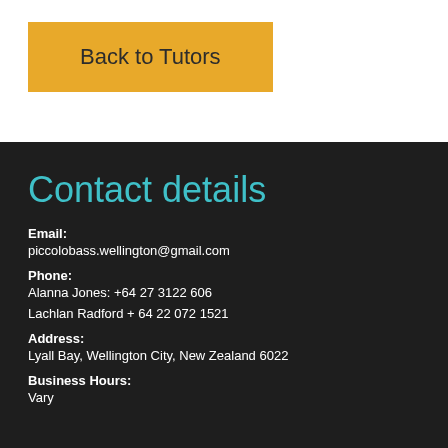Back to Tutors
Contact details
Email:
piccolobass.wellington@gmail.com
Phone:
Alanna Jones: +64 27 3122 606
Lachlan Radford + 64 22 072 1521
Address:
Lyall Bay, Wellington City, New Zealand 6022
Business Hours:
Vary